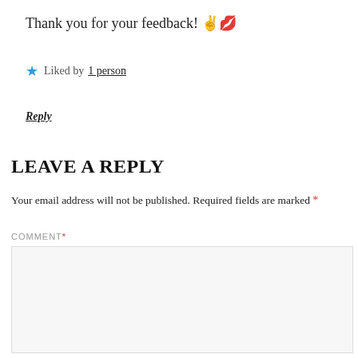Thank you for your feedback! ✌️💋
★ Liked by 1 person
Reply
LEAVE A REPLY
Your email address will not be published. Required fields are marked *
COMMENT *